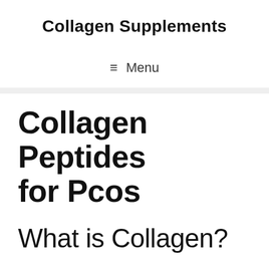Collagen Supplements
≡ Menu
Collagen Peptides for Pcos
What is Collagen?